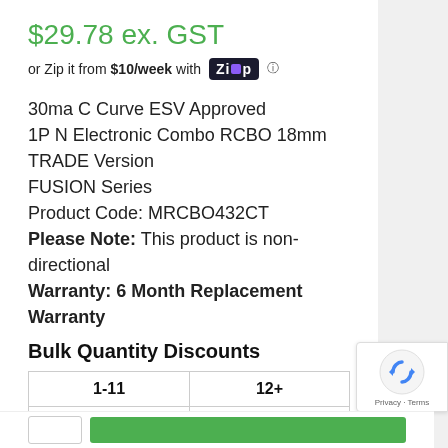$29.78 ex. GST
or Zip it from $10/week with Zip
30ma C Curve ESV Approved
1P N Electronic Combo RCBO 18mm
TRADE Version
FUSION Series
Product Code: MRCBO432CT
Please Note: This product is non-directional
Warranty: 6 Month Replacement Warranty
Bulk Quantity Discounts
| 1-11 | 12+ |
| --- | --- |
| $29.78 ex. GST | $28.35 ex. GST |